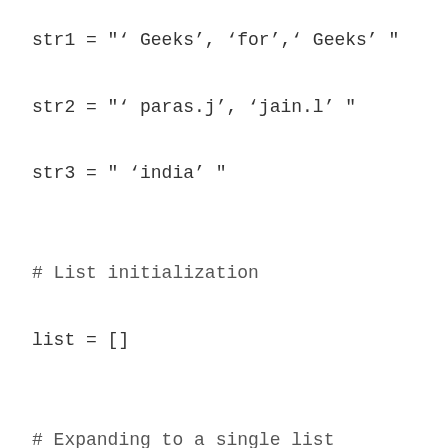str1 = "' Geeks', 'for',' Geeks' "
str2 = "' paras.j', 'jain.l' "
str3 = " 'india' "
# List initialization
list = []
# Expanding to a single list
for x in (str1, str2, str3):
list . extend (ast.literal_eval (x))